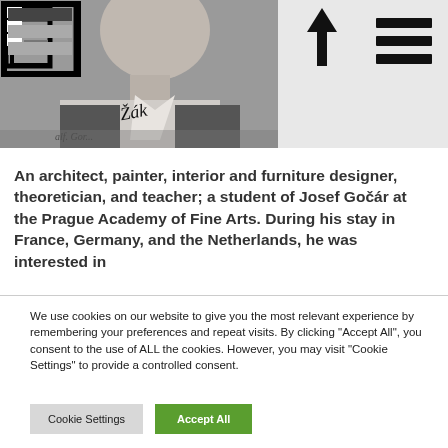[Figure (photo): Black and white portrait photo of a young man in formal attire, partially visible, with a handwritten signature overlay reading 'Žák']
An architect, painter, interior and furniture designer, theoretician, and teacher; a student of Josef Gočár at the Prague Academy of Fine Arts. During his stay in France, Germany, and the Netherlands, he was interested in
We use cookies on our website to give you the most relevant experience by remembering your preferences and repeat visits. By clicking "Accept All", you consent to the use of ALL the cookies. However, you may visit "Cookie Settings" to provide a controlled consent.
Cookie Settings
Accept All